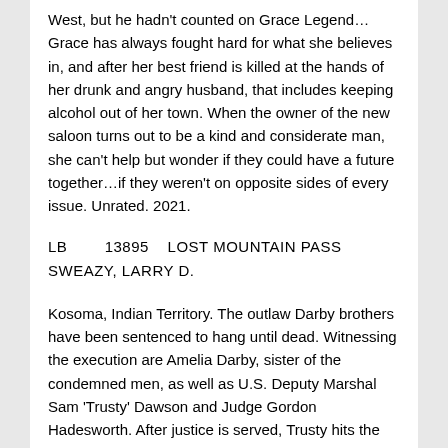West, but he hadn't counted on Grace Legend… Grace has always fought hard for what she believes in, and after her best friend is killed at the hands of her drunk and angry husband, that includes keeping alcohol out of her town. When the owner of the new saloon turns out to be a kind and considerate man, she can't help but wonder if they could have a future together…if they weren't on opposite sides of every issue. Unrated. 2021.
LB        13895    LOST MOUNTAIN PASS
SWEAZY, LARRY D.
Kosoma, Indian Territory. The outlaw Darby brothers have been sentenced to hang until dead. Witnessing the execution are Amelia Darby, sister of the condemned men, as well as U.S. Deputy Marshal Sam 'Trusty' Dawson and Judge Gordon Hadesworth. After justice is served, Trusty hits the